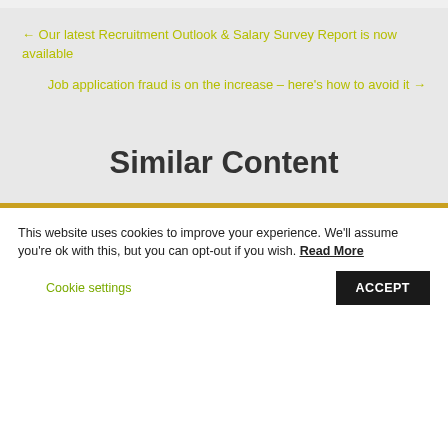← Our latest Recruitment Outlook & Salary Survey Report is now available
Job application fraud is on the increase – here's how to avoid it →
Similar Content
This website uses cookies to improve your experience. We'll assume you're ok with this, but you can opt-out if you wish. Read More  Cookie settings  ACCEPT